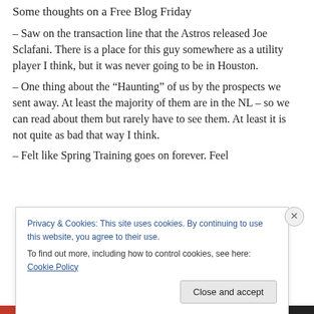Some thoughts on a Free Blog Friday
– Saw on the transaction line that the Astros released Joe Sclafani. There is a place for this guy somewhere as a utility player I think, but it was never going to be in Houston.
– One thing about the “Haunting” of us by the prospects we sent away. At least the majority of them are in the NL – so we can read about them but rarely have to see them. At least it is not quite as bad that way I think.
– Felt like Spring Training goes on forever. Feel
Privacy & Cookies: This site uses cookies. By continuing to use this website, you agree to their use.
To find out more, including how to control cookies, see here: Cookie Policy